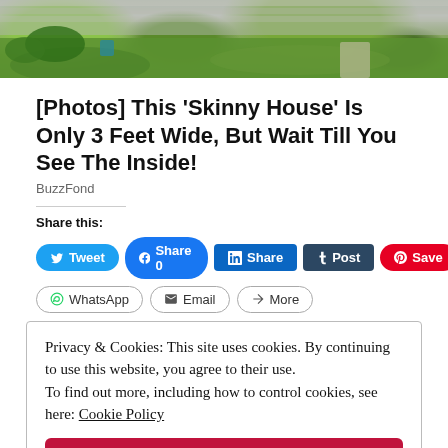[Figure (photo): Exterior photo of a house with green lawn and landscaping, cropped at the top of the page]
[Photos] This 'Skinny House' Is Only 3 Feet Wide, But Wait Till You See The Inside!
BuzzFond
Share this:
Privacy & Cookies: This site uses cookies. By continuing to use this website, you agree to their use. To find out more, including how to control cookies, see here: Cookie Policy
Close and accept
In "parenting"
In "women"